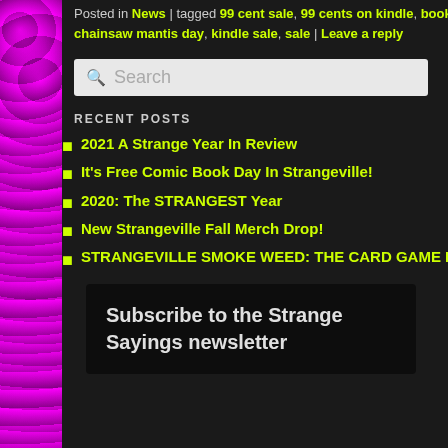Posted in News | tagged 99 cent sale, 99 cents on kindle, book deal, book sale, buy chainsaw mantis day, kindle sale, sale | Leave a reply
Search
RECENT POSTS
2021 A Strange Year In Review
It's Free Comic Book Day In Strangeville!
2020: The STRANGEST Year
New Strangeville Fall Merch Drop!
STRANGEVILLE SMOKE WEED: THE CARD GAME Fully Funded on Day 1!
Subscribe to the Strange Sayings newsletter